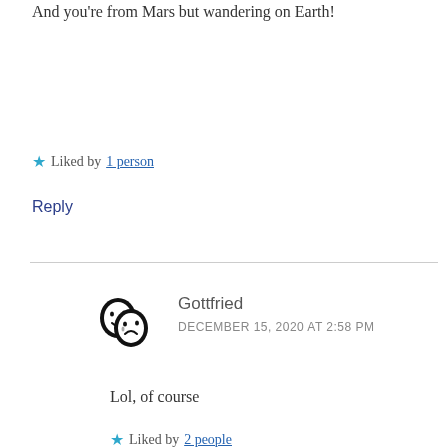And you're from Mars but wandering on Earth!
★ Liked by 1 person
Reply
Gottfried
DECEMBER 15, 2020 AT 2:58 PM
Lol, of course
★ Liked by 2 people
Reply
Advertisements
[Figure (screenshot): Advertisement banner with orange background showing a smartphone and text 'Search, browse, and']